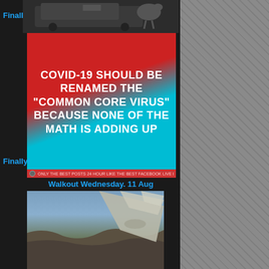Finally!
[Figure (photo): Top portion of a social media post showing a vehicle/animal image]
[Figure (infographic): Meme graphic with gradient red to cyan background and bold white text: COVID-19 SHOULD BE RENAMED THE "COMMON CORE VIRUS" BECAUSE NONE OF THE MATH IS ADDING UP]
Finally!
Walkout Wednesday. 11 Aug
[Figure (photo): Aerial photograph taken from airplane window showing canyon landscape below with airplane wing visible]
[Figure (photo): Ground-level photograph of the Grand Canyon showing layered red rock formations and canyon depth]